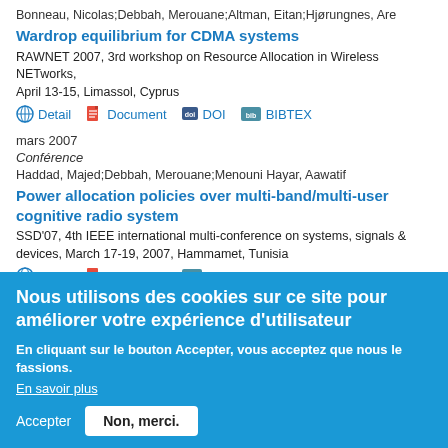Bonneau, Nicolas;Debbah, Merouane;Altman, Eitan;Hjørungnes, Are
Wardrop equilibrium for CDMA systems
RAWNET 2007, 3rd workshop on Resource Allocation in Wireless NETworks, April 13-15, Limassol, Cyprus
Detail | Document | DOI | BIBTEX
mars 2007
Conférence
Haddad, Majed;Debbah, Merouane;Menouni Hayar, Aawatif
Power allocation policies over multi-band/multi-user cognitive radio system
SSD'07, 4th IEEE international multi-conference on systems, signals & devices, March 17-19, 2007, Hammamet, Tunisia
Detail | Document | BIBTEX
mars 2007
Paramètres de confidentialité
Nous utilisons des cookies sur ce site pour améliorer votre expérience d'utilisateur
En cliquant sur le bouton Accepter, vous acceptez que nous le fassions.
En savoir plus
Accepter
Non, merci.